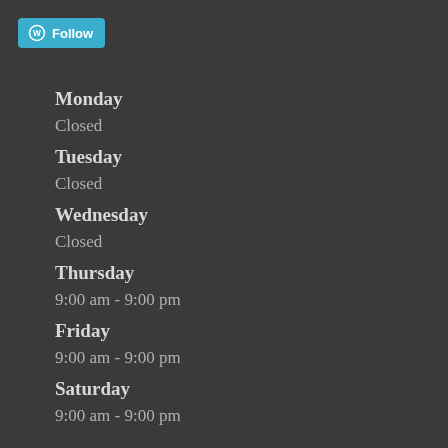[Figure (logo): WordPress Follow button in blue/cyan with WordPress logo icon and 'Follow' text]
Monday
Closed
Tuesday
Closed
Wednesday
Closed
Thursday
9:00 am - 9:00 pm
Friday
9:00 am - 9:00 pm
Saturday
9:00 am - 9:00 pm